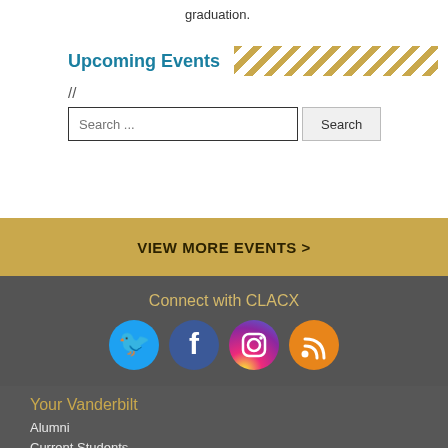graduation.
Upcoming Events
//
Search ...  Search
VIEW MORE EVENTS >
Connect with CLACX
[Figure (infographic): Social media icons: Twitter (blue), Facebook (dark blue), Instagram (gradient purple-orange), RSS (orange)]
Your Vanderbilt
Alumni
Current Students